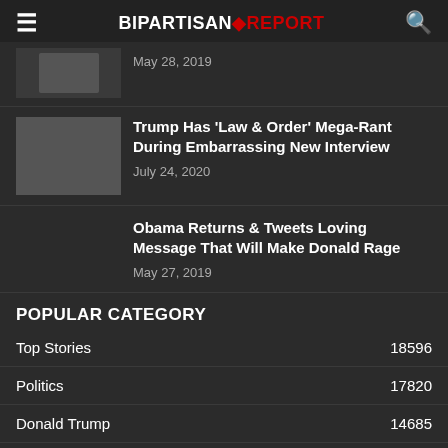BIPARTISAN REPORT
May 28, 2019
Trump Has 'Law & Order' Mega-Rant During Embarrassing New Interview
July 24, 2020
Obama Returns & Tweets Loving Message That Will Make Donald Rage
May 27, 2019
POPULAR CATEGORY
Top Stories  18596
Politics  17820
Donald Trump  14685
Corruption  6855